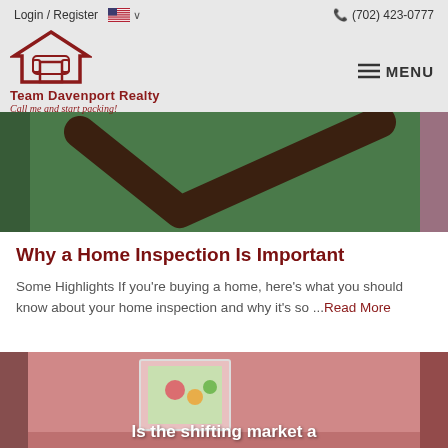Login / Register  🇺🇸 ∨  (702) 423-0777  Team Davenport Realty  Call me and start packing!  ≡ MENU
[Figure (photo): Partial green background image with dark brown V-shape/checkmark graphic visible at the top of the content area]
Why a Home Inspection Is Important
Some Highlights If you're buying a home, here's what you should know about your home inspection and why it's so ...Read More
[Figure (photo): Pink-toned room interior photo with a framed floral painting on the wall; text overlay reads 'Is the shifting market a']